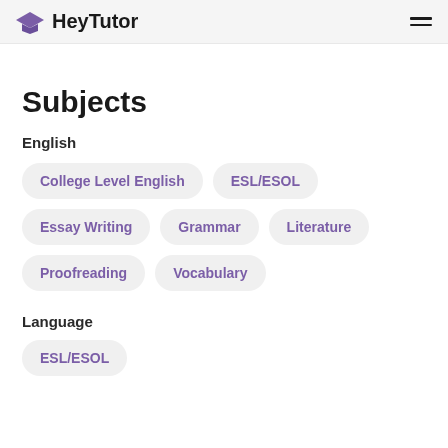HeyTutor
Subjects
English
College Level English
ESL/ESOL
Essay Writing
Grammar
Literature
Proofreading
Vocabulary
Language
ESL/ESOL